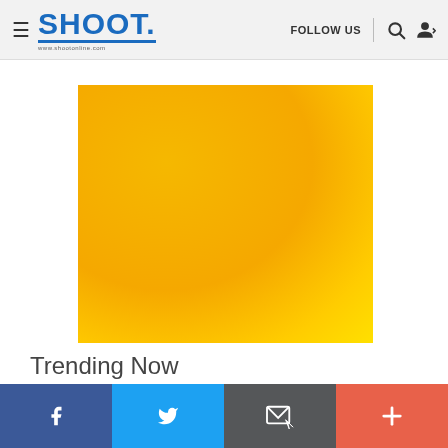SHOOT — FOLLOW US
[Figure (photo): Large yellow-orange gradient rectangle, placeholder image block]
Trending Now
Facebook | Twitter | Email | More social sharing buttons